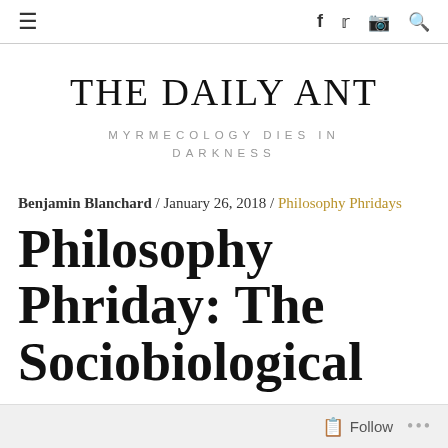≡  f  Twitter  Instagram  Search
THE DAILY ANT
MYRMECOLOGY DIES IN DARKNESS
Benjamin Blanchard / January 26, 2018 / Philosophy Phridays
Philosophy Phriday: The Sociobiological